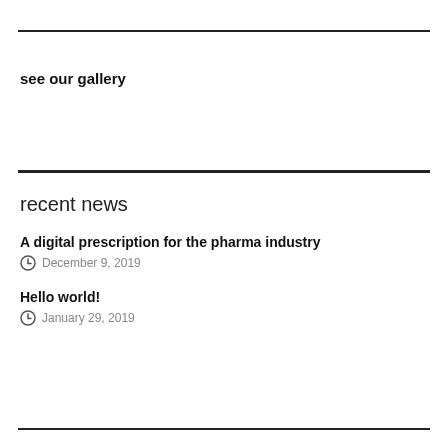see our gallery
recent news
A digital prescription for the pharma industry
December 9, 2019
Hello world!
January 29, 2019